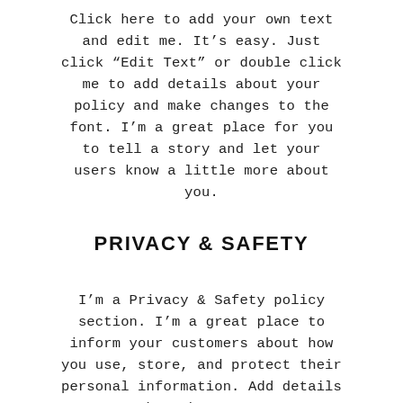Click here to add your own text and edit me. It's easy. Just click "Edit Text" or double click me to add details about your policy and make changes to the font. I'm a great place for you to tell a story and let your users know a little more about you.
PRIVACY & SAFETY
I'm a Privacy & Safety policy section. I'm a great place to inform your customers about how you use, store, and protect their personal information. Add details such as how you use